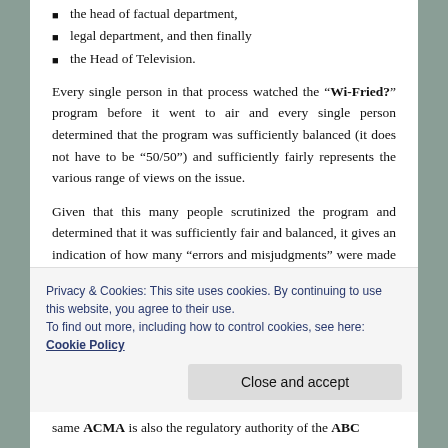the head of factual department,
legal department, and then finally
the Head of Television.
Every single person in that process watched the “Wi-Fried?” program before it went to air and every single person determined that the program was sufficiently balanced (it does not have to be “50/50”) and sufficiently fairly represents the various range of views on the issue.
Given that this many people scrutinized the program and determined that it was sufficiently fair and balanced, it gives an indication of how many “errors and misjudgments” were made by the many layers of ABC TV management, for which “the scapegoat” pays the price.
Privacy & Cookies: This site uses cookies. By continuing to use this website, you agree to their use.
To find out more, including how to control cookies, see here: Cookie Policy
same ACMA is also the regulatory authority of the ABC